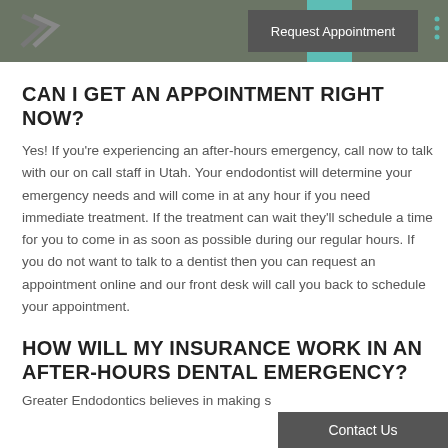Request Appointment
CAN I GET AN APPOINTMENT RIGHT NOW?
Yes! If you're experiencing an after-hours emergency, call now to talk with our on call staff in Utah. Your endodontist will determine your emergency needs and will come in at any hour if you need immediate treatment. If the treatment can wait they'll schedule a time for you to come in as soon as possible during our regular hours. If you do not want to talk to a dentist then you can request an appointment online and our front desk will call you back to schedule your appointment.
HOW WILL MY INSURANCE WORK IN AN AFTER-HOURS DENTAL EMERGENCY?
Greater Endodontics believes in making s